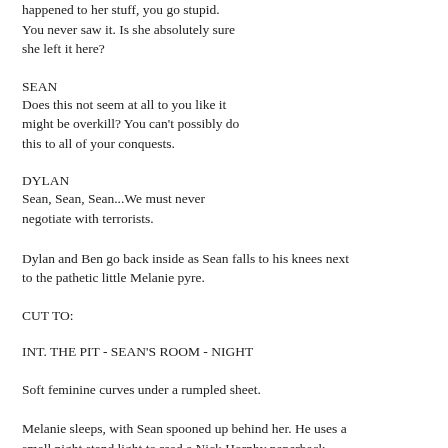happened to her stuff, you go stupid. You never saw it. Is she absolutely sure she left it here?
SEAN
Does this not seem at all to you like it might be overkill? You can't possibly do this to all of your conquests.
DYLAN
Sean, Sean, Sean...We must never negotiate with terrorists.
Dylan and Ben go back inside as Sean falls to his knees next to the pathetic little Melanie pyre.
CUT TO:
INT. THE PIT - SEAN'S ROOM - NIGHT
Soft feminine curves under a rumpled sheet.
Melanie sleeps, with Sean spooned up behind her. He uses a small night stand light to read a Nick Hornby paperback.
NARRATOR SEAN (V.O.)
She kept stopping in the middle of